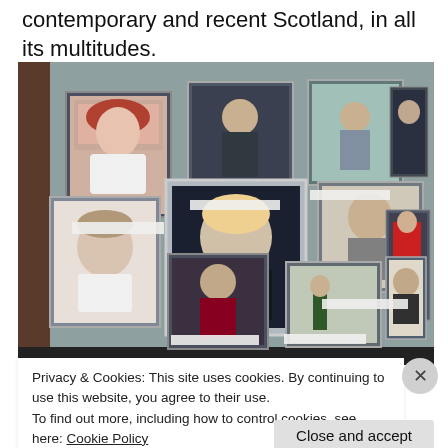contemporary and recent Scotland, in all its multitudes.
[Figure (photo): Gallery wall with multiple framed portrait photographs of various people displayed on a light-colored wall, with some background architectural elements visible.]
Privacy & Cookies: This site uses cookies. By continuing to use this website, you agree to their use.
To find out more, including how to control cookies, see here: Cookie Policy
Close and accept